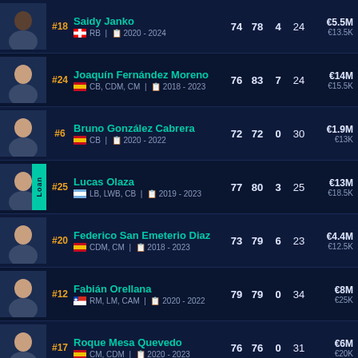| # | Player | OVR | POT | G | Age | Value | Wage |
| --- | --- | --- | --- | --- | --- | --- | --- |
| #18 | Saidy Janko | 74 | 78 | 4 | 24 | €5.5M | €13.5K |
| #24 | Joaquín Fernández Moreno | 76 | 83 | 7 | 24 | €14M | €15.5K |
| #6 | Bruno González Cabrera | 72 | 72 | 0 | 30 | €1.9M | €13K |
| #25 | Lucas Olaza (Loan) | 77 | 80 | 3 | 25 | €13M | €18.5K |
| #20 | Federico San Emeterio Diaz | 73 | 79 | 6 | 23 | €4.4M | €12.5K |
| #12 | Fabián Orellana | 79 | 79 | 0 | 34 | €8M | €25K |
| #17 | Roque Mesa Quevedo | 76 | 76 | 0 | 31 | €6M | €20K |
| #14 | Rubén Alcaraz Jiménez | 76 | 76 | 0 | 29 | €7.5M |  |